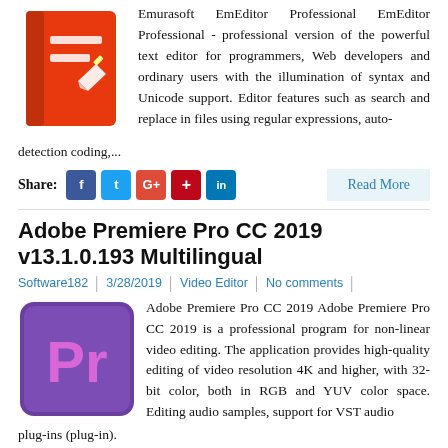[Figure (illustration): EmEditor Professional logo — red/orange book with white lines and a pen/pencil icon]
Emurasoft EmEditor Professional EmEditor Professional - professional version of the powerful text editor for programmers, Web developers and ordinary users with the illumination of syntax and Unicode support. Editor features such as search and replace in files using regular expressions, auto-detection coding,...
Share: [Facebook] [Twitter] [Google+] [Pinterest] [LinkedIn]    Read More
Adobe Premiere Pro CC 2019 v13.1.0.193 Multilingual
Software182  3/28/2019  Video Editor  No comments
[Figure (logo): Adobe Premiere Pro CC logo — purple/violet square with 'Pr' in pink/magenta text]
Adobe Premiere Pro CC 2019 Adobe Premiere Pro CC 2019 is a professional program for non-linear video editing. The application provides high-quality editing of video resolution 4K and higher, with 32-bit color, both in RGB and YUV color space. Editing audio samples, support for VST audio plug-ins (plug-in).